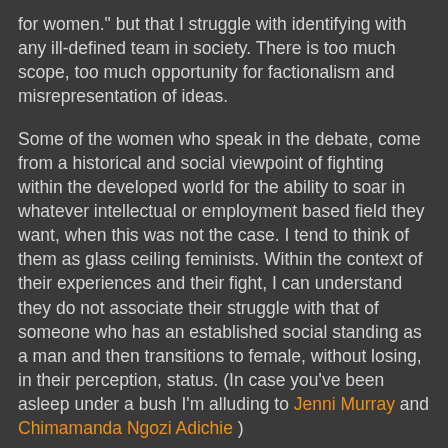for women." but that I struggle with identifying with any ill-defined team in society. There is too much scope, too much opportunity for factionalism and misrepresentation of ideas.
Some of the women who speak in the debate, come from a historical and social viewpoint of fighting within the developed world for the ability to soar in whatever intellectual or employment based field they want, when this was not the case. I tend to think of them as glass ceiling feminists. Within the context of their experiences and their fight, I can understand they do not associate their struggle with that of someone who has an established social standing as a man and then transitions to female, without losing, in their perception, status. (In case you've been asleep under a bush I'm alluding to Jenni Murray and Chimamanda Ngozi Adichie )
My personal experience of this is a mtf post-surgery family member. Work status was established as a male and was protected by law when they transitioned, and working in a liberally minded field, being trans did to a certain extent give a level of kudos. That they have transitioned has not